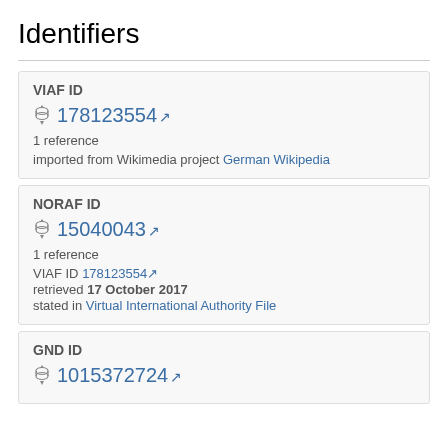Identifiers
VIAF ID
178123554 [external link]
1 reference
imported from Wikimedia project German Wikipedia
NORAF ID
15040043 [external link]
1 reference
VIAF ID 178123554 [external link]
retrieved 17 October 2017
stated in Virtual International Authority File
GND ID
1015372724 [external link]